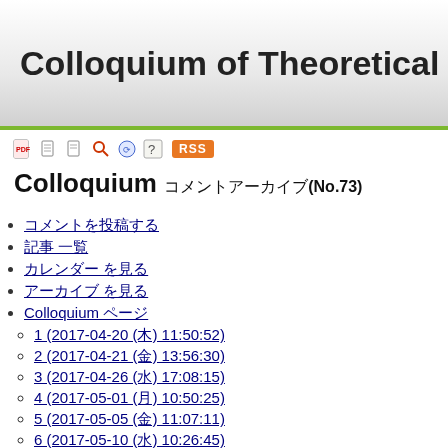Colloquium of Theoretical A
Colloquium コメントアーカイブ(No.73)
コメントを投稿する
記事 一覧
カレンダー を見る
アーカイブ を見る
Colloquium ページ
1 (2017-04-20 (木) 11:50:52)
2 (2017-04-21 (金) 13:56:30)
3 (2017-04-26 (水) 17:08:15)
4 (2017-05-01 (月) 10:50:25)
5 (2017-05-05 (金) 11:07:11)
6 (2017-05-10 (水) 10:26:45)
7 (2017-05-10 (水) 10:14:58)